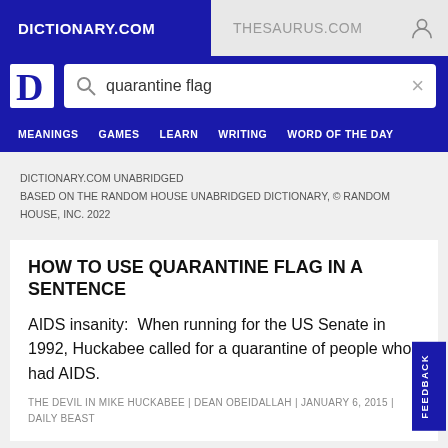DICTIONARY.COM | THESAURUS.COM
quarantine flag
MEANINGS | GAMES | LEARN | WRITING | WORD OF THE DAY
DICTIONARY.COM UNABRIDGED
BASED ON THE RANDOM HOUSE UNABRIDGED DICTIONARY, © RANDOM HOUSE, INC. 2022
HOW TO USE QUARANTINE FLAG IN A SENTENCE
AIDS insanity:  When running for the US Senate in 1992, Huckabee called for a quarantine of people who had AIDS.
THE DEVIL IN MIKE HUCKABEE | DEAN OBEIDALLAH | JANUARY 6, 2015 | DAILY BEAST